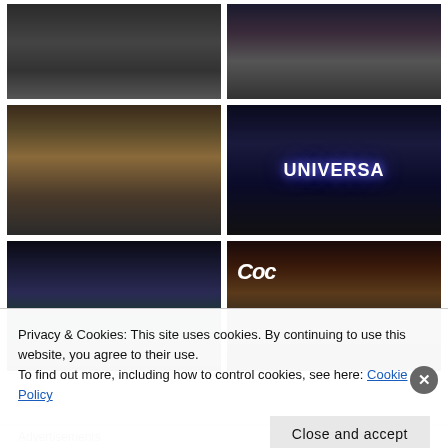[Figure (photo): Dark street scene with crowds, daytime overhead view]
[Figure (photo): Amusement park ride structure at night or dusk]
[Figure (photo): Indoor mall or shopping arcade with decorative lights and crowds]
[Figure (photo): Universal Studios globe/sign lit up at night with silhouetted crowd]
[Figure (photo): Colorful amusement park at night with Ferris wheel and neon lights]
[Figure (photo): City street at night with Coca-Cola sign and neon advertisements]
Privacy & Cookies: This site uses cookies. By continuing to use this website, you agree to their use.
To find out more, including how to control cookies, see here: Cookie Policy
Close and accept
Advertisements